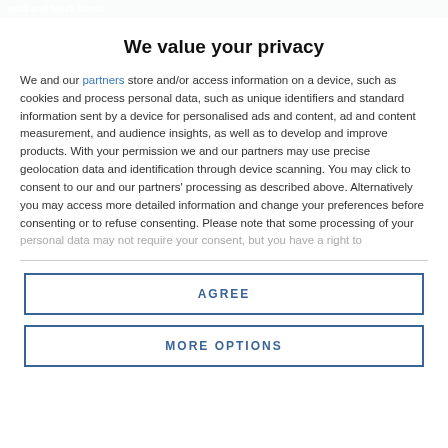gold and black blood
We value your privacy
We and our partners store and/or access information on a device, such as cookies and process personal data, such as unique identifiers and standard information sent by a device for personalised ads and content, ad and content measurement, and audience insights, as well as to develop and improve products. With your permission we and our partners may use precise geolocation data and identification through device scanning. You may click to consent to our and our partners' processing as described above. Alternatively you may access more detailed information and change your preferences before consenting or to refuse consenting. Please note that some processing of your personal data may not require your consent, but you have a right to
AGREE
MORE OPTIONS